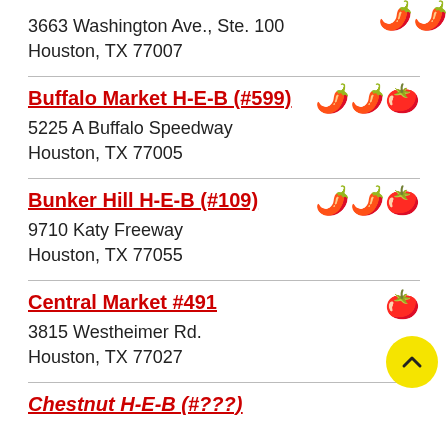3663 Washington Ave., Ste. 100
Houston, TX 77007
Buffalo Market H-E-B (#599)
5225 A Buffalo Speedway
Houston, TX 77005
Bunker Hill H-E-B (#109)
9710 Katy Freeway
Houston, TX 77055
Central Market #491
3815 Westheimer Rd.
Houston, TX 77027
Chestnut H-E-B (#???